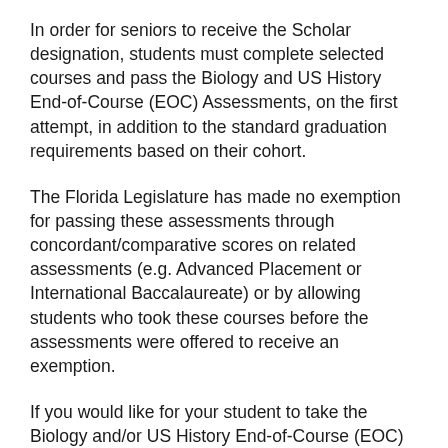In order for seniors to receive the Scholar designation, students must complete selected courses and pass the Biology and US History End-of-Course (EOC) Assessments, on the first attempt, in addition to the standard graduation requirements based on their cohort.
The Florida Legislature has made no exemption for passing these assessments through concordant/comparative scores on related assessments (e.g. Advanced Placement or International Baccalaureate) or by allowing students who took these courses before the assessments were offered to receive an exemption.
If you would like for your student to take the Biology and/or US History End-of-Course (EOC) Assessment in order to attempt to qualify for the Scholar's Designation, students may sign up at https://forms.gle/KC7gJRaeaiamH6Fz7 at least two weeks prior to the test date. Please make sure that the student has already completed the course and not taken the exam. For questions regarding the Biology...